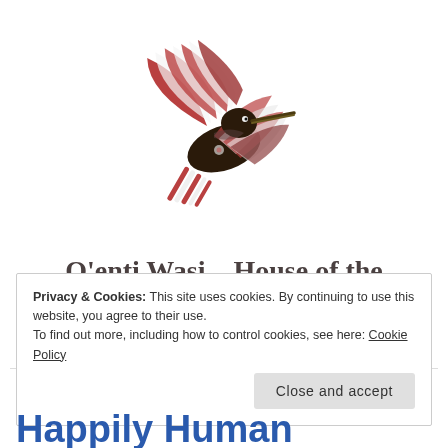[Figure (illustration): Decorative hummingbird illustration with red, white, and dark stripes/patterns, facing right with wings spread]
Q'enti Wasi – House of the Hummingbird
Andean Cosmovision and Sacred Arts for Conscious Evolution
Privacy & Cookies: This site uses cookies. By continuing to use this website, you agree to their use.
To find out more, including how to control cookies, see here: Cookie Policy
Close and accept
Happily Human